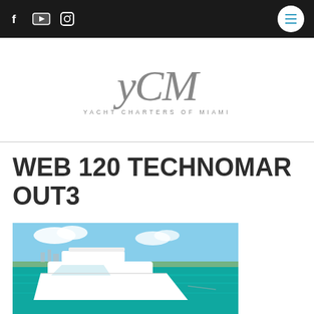Navigation bar with social icons (Facebook, YouTube, Instagram) and hamburger menu button
[Figure (logo): YCM – Yacht Charters of Miami logo in grey serif italic font with tagline YACHT CHARTERS OF MIAMI]
WEB 120 TECHNOMAR OUT3
[Figure (photo): White luxury yacht on turquoise water with Miami skyline in background]